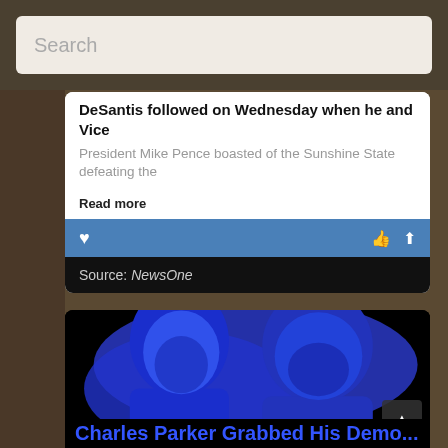Search
DeSantis followed on Wednesday when he and Vice President Mike Pence boasted of the Sunshine State defeating the
Read more
Source: NewsOne
[Figure (photo): Two people shown in blue-tinted monochrome against a black background with a blue geographic shape silhouette behind them. A woman on the left and a man on the right, both facing slightly toward each other.]